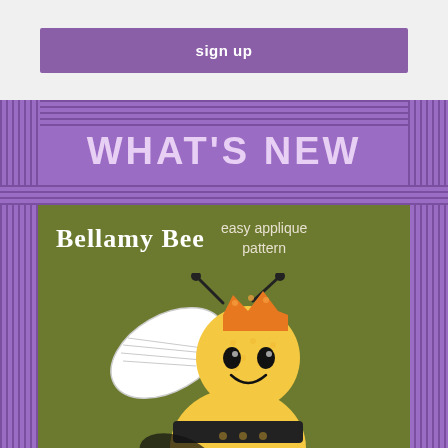sign up
WHAT'S NEW
[Figure (illustration): Bellamy Bee easy applique pattern product card on green background featuring a cartoon queen bee with crown, white wings, yellow and black striped body, on a green burlap-textured background. Text reads 'Bellamy Bee easy applique pattern'.]